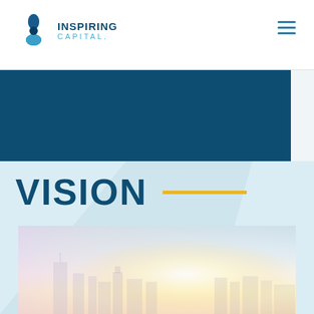INSPIRING CAPITAL.
[Figure (logo): Inspiring Capital logo with blue teardrop/flower icon and text INSPIRING CAPITAL.]
[Figure (illustration): Dark teal/navy blue rectangular banner strip]
VISION
[Figure (photo): City skyline at sunrise with soft warm haze, buildings silhouetted in the distance against a bright sky with pastel yellow and blue tones]